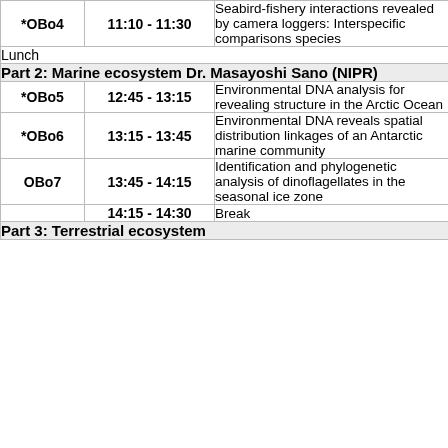| ID | Time | Description |
| --- | --- | --- |
| *OBo4 | 11:10 - 11:30 | Seabird-fishery interactions revealed by camera loggers: Interspecific comparison species |
| Lunch |  |  |
| Part 2: Marine ecosystem Dr. Masayoshi Sano (NIPR) |  |  |
| *OBo5 | 12:45 - 13:15 | Environmental DNA analysis for revealing structure in the Arctic Ocean |
| *OBo6 | 13:15 - 13:45 | Environmental DNA reveals spatial distribution linkages of an Antarctic marine community |
| OBo7 | 13:45 - 14:15 | Identification and phylogenetic analysis of dinoflagellates in the seasonal ice zone |
|  | 14:15 - 14:30 | Break |
| Part 3: Terrestrial ecosystem |  |  |